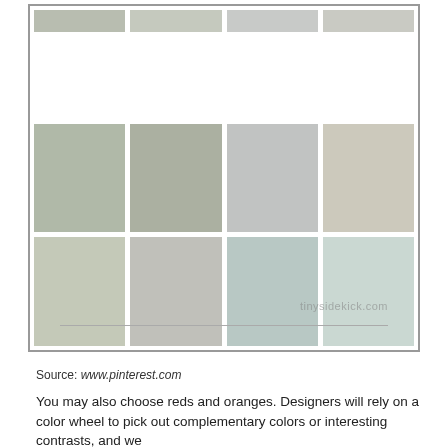[Figure (illustration): A grid of 12 paint color swatches arranged in 3 rows and 4 columns, showing various muted sage green, gray-green, silver-gray, and pale blue-green tones. A watermark reads 'tinysidekick.com' in the lower right area of the image.]
Source: www.pinterest.com
You may also choose reds and oranges. Designers will rely on a color wheel to pick out complementary colors or interesting contrasts, and we